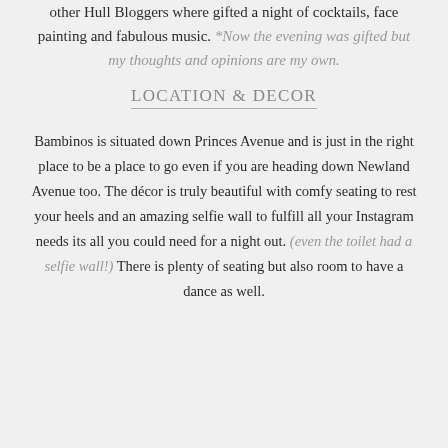other Hull Bloggers where gifted a night of cocktails, face painting and fabulous music. *Now the evening was gifted but my thoughts and opinions are my own.
LOCATION & DECOR
Bambinos is situated down Princes Avenue and is just in the right place to be a place to go even if you are heading down Newland Avenue too. The décor is truly beautiful with comfy seating to rest your heels and an amazing selfie wall to fulfill all your Instagram needs its all you could need for a night out. (even the toilet had a selfie wall!) There is plenty of seating but also room to have a dance as well.